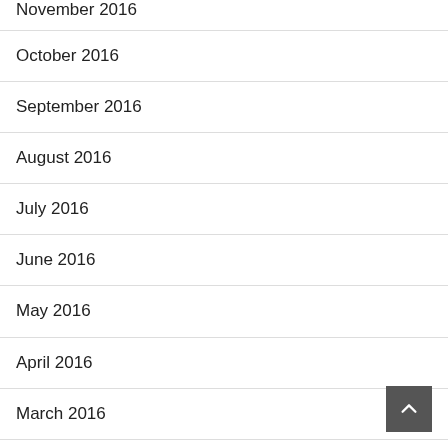November 2016
October 2016
September 2016
August 2016
July 2016
June 2016
May 2016
April 2016
March 2016
February 2016
January 2016